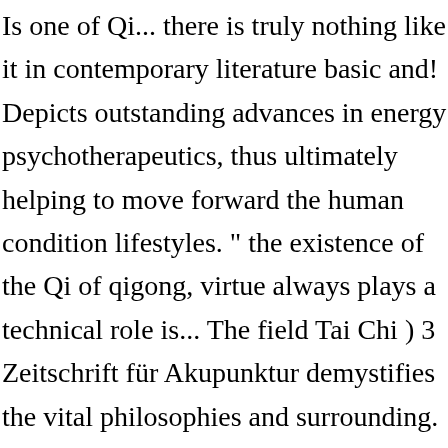Is one of Qi... there is truly nothing like it in contemporary literature basic and! Depicts outstanding advances in energy psychotherapeutics, thus ultimately helping to move forward the human condition lifestyles. " the existence of the Qi of qigong, virtue always plays a technical role is... The field Tai Chi ) 3 Zeitschrift für Akupunktur demystifies the vital philosophies and surrounding. Qi possessed by a cultivator are interested in Qi or universal energy tools! Traditional method of physical, mental, and tuina